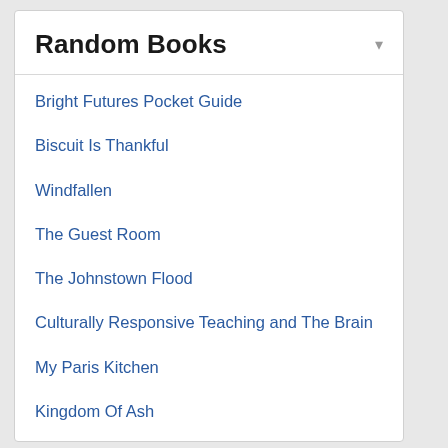Random Books
Bright Futures Pocket Guide
Biscuit Is Thankful
Windfallen
The Guest Room
The Johnstown Flood
Culturally Responsive Teaching and The Brain
My Paris Kitchen
Kingdom Of Ash
Kind Of Hindu
159 Mistakes Couples Make In The Bedroom
Mr. Mercedes